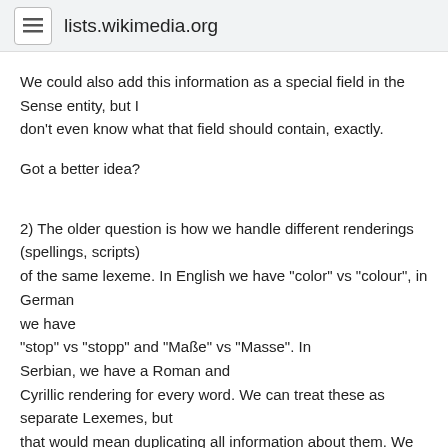lists.wikimedia.org
We could also add this information as a special field in the Sense entity, but I don't even know what that field should contain, exactly.
Got a better idea?
2) The older question is how we handle different renderings (spellings, scripts) of the same lexeme. In English we have "color" vs "colour", in German we have "stop" vs "stopp" and "Maße" vs "Masse". In Serbian, we have a Roman and Cyrillic rendering for every word. We can treat these as separate Lexemes, but that would mean duplicating all information about them. We could have a single